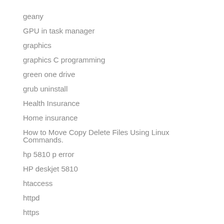geany
GPU in task manager
graphics
graphics C programming
green one drive
grub uninstall
Health Insurance
Home insurance
How to Move Copy Delete Files Using Linux Commands.
hp 5810 p error
HP deskjet 5810
htaccess
httpd
https